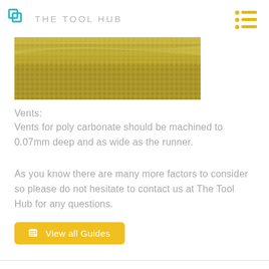The Tool Hub
[Figure (photo): Close-up photograph of a golden/olive colored woven mesh or wire mesh material, showing texture of the fabric weave.]
Vents:
Vents for poly carbonate should be machined to 0.07mm deep and as wide as the runner.
As you know there are many more factors to consider so please do not hesitate to contact us at The Tool Hub for any questions.
View all Guides